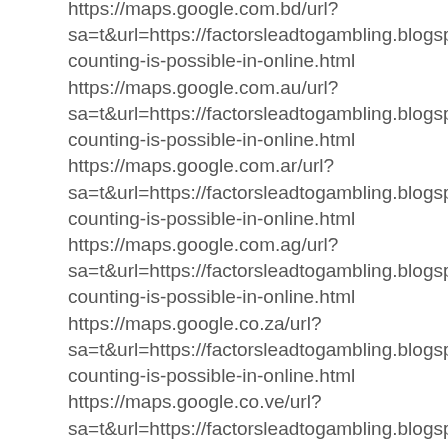https://maps.google.com.bd/url?sa=t&url=https://factorsleadtogambling.blogspot.com/counting-is-possible-in-online.html
https://maps.google.com.au/url?sa=t&url=https://factorsleadtogambling.blogspot.com/counting-is-possible-in-online.html
https://maps.google.com.ar/url?sa=t&url=https://factorsleadtogambling.blogspot.com/counting-is-possible-in-online.html
https://maps.google.com.ag/url?sa=t&url=https://factorsleadtogambling.blogspot.com/counting-is-possible-in-online.html
https://maps.google.co.za/url?sa=t&url=https://factorsleadtogambling.blogspot.com/counting-is-possible-in-online.html
https://maps.google.co.ve/url?sa=t&url=https://factorsleadtogambling.blogspot.com/counting-is-possible-in-online.html
https://maps.google.co.uk/url?sa=t&url=https://factorsleadtogambling.blogspot.com/counting-is-possible-in-online.html